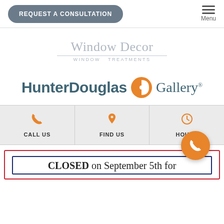REQUEST A CONSULTATION | Menu
[Figure (logo): Window Decor Window Treatments logo in gray serif font]
[Figure (logo): HunterDouglas Gallery logo with orange icon]
CALL US | FIND US | HOURS
CLOSED on September 5th for